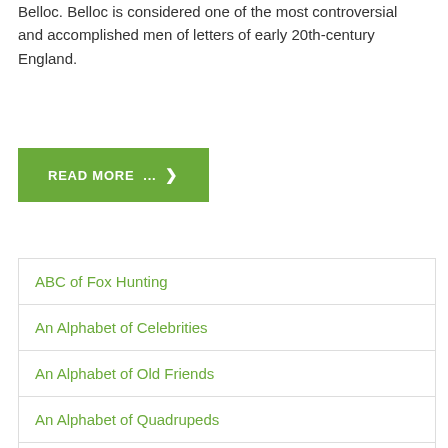Belloc. Belloc is considered one of the most controversial and accomplished men of letters of early 20th-century England.
READ MORE ...
ABC of Fox Hunting
An Alphabet of Celebrities
An Alphabet of Old Friends
An Alphabet of Quadrupeds
Fireside Picture Alphabet
Footsteps on the Road to Learning